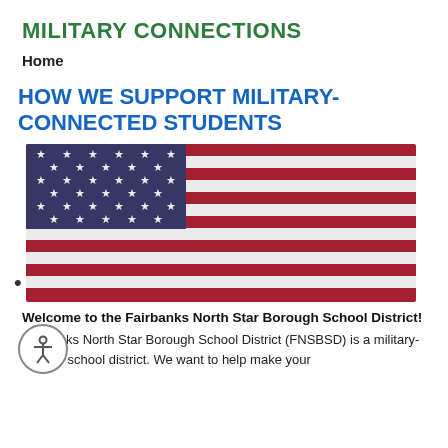MILITARY CONNECTIONS
Home
HOW WE SUPPORT MILITARY-CONNECTED STUDENTS
[Figure (photo): Close-up photograph of an American flag with stars and red and white stripes waving.]
Welcome to the Fairbanks North Star Borough School District!
Fairbanks North Star Borough School District (FNSBSD) is a military-friendly school district. We want to help make your